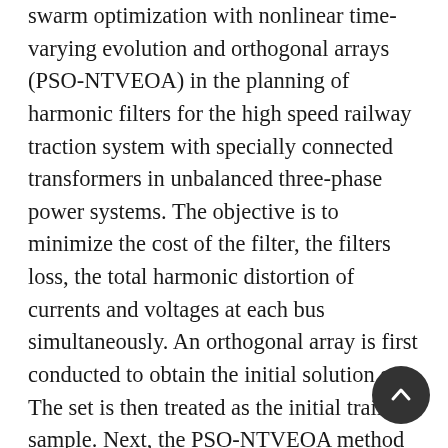swarm optimization with nonlinear time-varying evolution and orthogonal arrays (PSO-NTVEOA) in the planning of harmonic filters for the high speed railway traction system with specially connected transformers in unbalanced three-phase power systems. The objective is to minimize the cost of the filter, the filters loss, the total harmonic distortion of currents and voltages at each bus simultaneously. An orthogonal array is first conducted to obtain the initial solution set. The set is then treated as the initial training sample. Next, the PSO-NTVEOA method parameters are determined by using matrix experiments with an orthogonal array, in which a minimal number of experiments would have an effect that approximates the full factorial experiments. This PSO-NTVEOA method is then applied to design optimal harmonic filters in Taiwan High Speed Rail (THSR) traction system, where both rectifiers and